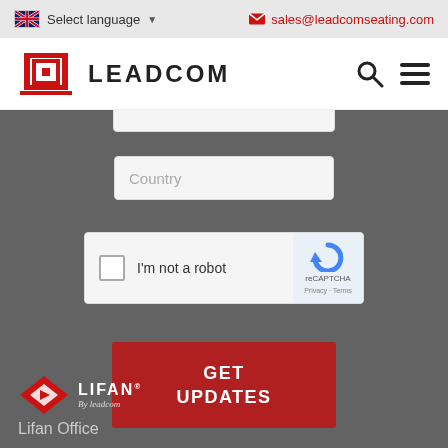Select language  |  sales@leadcomseating.com
[Figure (logo): Leadcom logo with red icon and bold LEADCOM text, plus search and menu icons]
[Figure (other): Country input field placeholder]
[Figure (other): reCAPTCHA widget with checkbox and I'm not a robot label, reCAPTCHA branding on right, Privacy - Terms links]
GET UPDATES
[Figure (logo): LIFAN by leadcom logo — red diamond with white leaf icon and LIFAN text with registered trademark]
Lifan Office